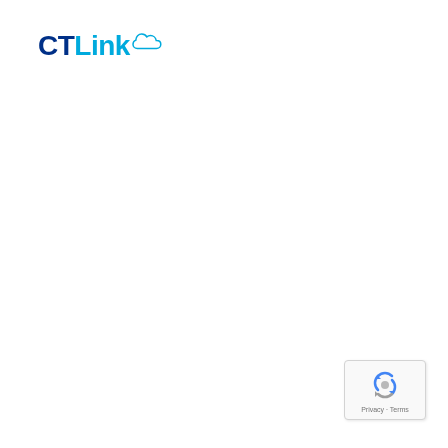[Figure (logo): CTLink logo with cloud icon. 'CT' in dark navy blue and 'Link' in light blue, followed by a light blue cloud outline icon.]
[Figure (other): reCAPTCHA widget box with recycling-arrow icon and 'Privacy - Terms' text at the bottom.]